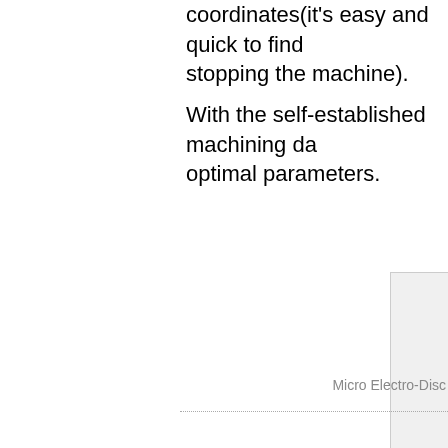coordinates(it's easy and quick to find stopping the machine).
With the self-established machining da optimal parameters.
[Figure (other): Partially visible box/image element in the lower right area of the page]
Micro Electro-Disc